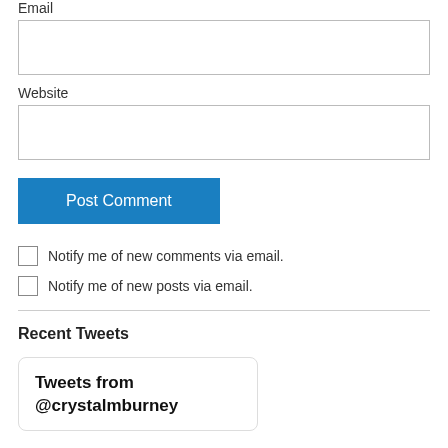Email
[Figure (screenshot): Empty email input text box]
Website
[Figure (screenshot): Empty website input text box]
Post Comment
Notify me of new comments via email.
Notify me of new posts via email.
Recent Tweets
Tweets from @crystalmburney